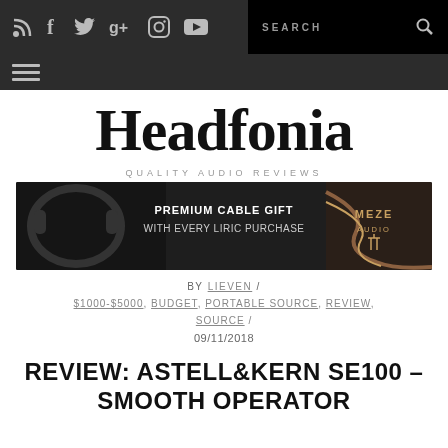Navigation bar with social icons (RSS, Facebook, Twitter, Google+, Instagram, YouTube), search box, and hamburger menu
Headfonia
QUALITY AUDIO REVIEWS
[Figure (photo): Meze Audio advertisement banner: PREMIUM CABLE GIFT WITH EVERY LIRIC PURCHASE, showing headphones on left, cable on right, Meze Audio logo]
BY LIEVEN / $1000-$5000, BUDGET, PORTABLE SOURCE, REVIEW, SOURCE / 09/11/2018
REVIEW: ASTELL&KERN SE100 – SMOOTH OPERATOR